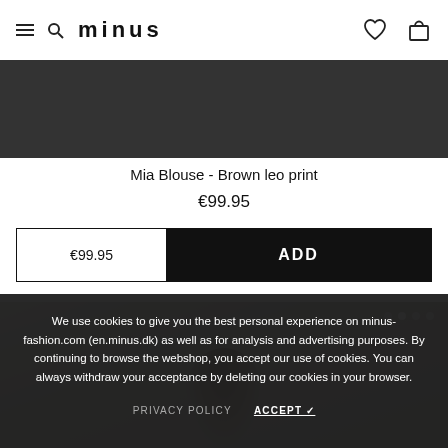minus
[Figure (photo): Product photo of Mia Blouse in Brown leo print, partially visible at top of page]
Mia Blouse - Brown leo print
€99.95
€99.95  ADD
[Figure (photo): Second product photo partially visible at bottom, woman wearing patterned blouse]
We use cookies to give you the best personal experience on minus-fashion.com (en.minus.dk) as well as for analysis and advertising purposes. By continuing to browse the webshop, you accept our use of cookies. You can always withdraw your acceptance by deleting our cookies in your browser.
PRIVACY POLICY  ACCEPT ✓